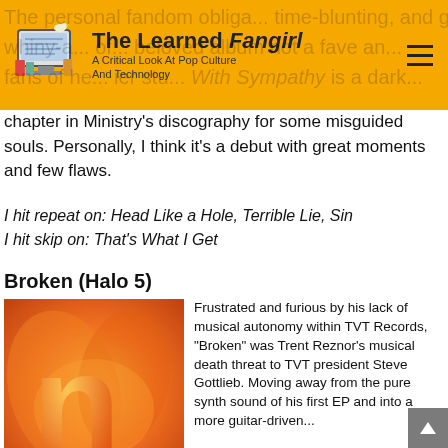The Learned Fangirl — A Critical Look At Pop Culture And Technology
The personal fandom obligations, time-blunting, and general whiny-ness of a formerly beloved album not a fave among fans of heavier stuff. With Sympathy is a dark chapter in Ministry's discography for some misguided souls. Personally, I think it's a debut with great moments and few flaws.
I hit repeat on: Head Like a Hole, Terrible Lie, Sin
I hit skip on: That's What I Get
Broken (Halo 5)
[Figure (photo): Album cover for Nine Inch Nails 'Broken' — orange and flame imagery with a large stylized 'n' letter, caption reads 'nine inch nails broken']
Frustrated and furious by his lack of musical autonomy within TVT Records, "Broken" was Trent Reznor's musical death threat to TVT president Steve Gottlieb. Moving away from the pure synth sound of his first EP and into a more guitar-driven...